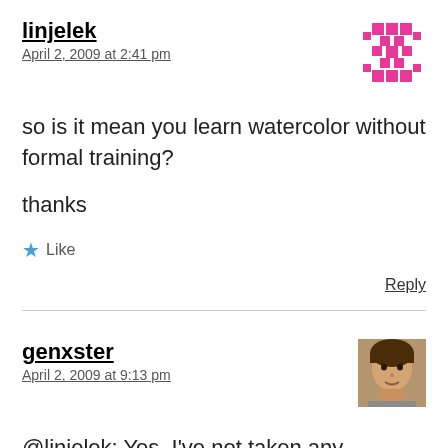linjelek
April 2, 2009 at 2:41 pm
[Figure (illustration): Pink mosaic avatar for user linjelek]
so is it mean you learn watercolor without formal training?
thanks
★ Like
Reply
genxster
April 2, 2009 at 9:13 pm
[Figure (photo): Small photo avatar of a person for user genxster]
@linjelek: Yes, I've not taken any watercolor classes. I've been looking at books and